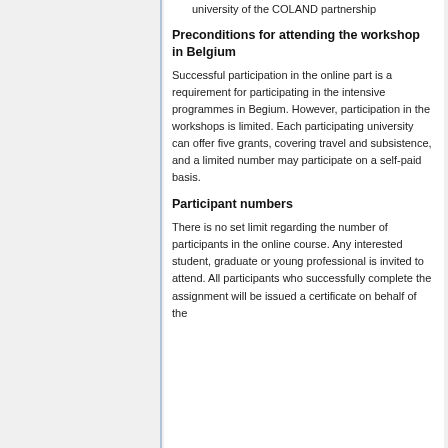university of the COLAND partnership
Preconditions for attending the workshop in Belgium
Successful participation in the online part is a requirement for participating in the intensive programmes in Begium. However, participation in the workshops is limited. Each participating university can offer five grants, covering travel and subsistence, and a limited number may participate on a self-paid basis.
Participant numbers
There is no set limit regarding the number of participants in the online course. Any interested student, graduate or young professional is invited to attend. All participants who successfully complete the assignment will be issued a certificate on behalf of the...